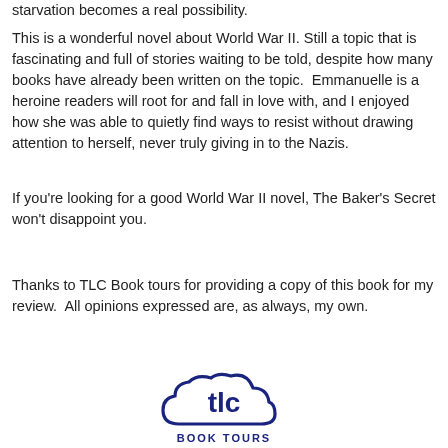starvation becomes a real possibility.
This is a wonderful novel about World War II. Still a topic that is fascinating and full of stories waiting to be told, despite how many books have already been written on the topic.  Emmanuelle is a heroine readers will root for and fall in love with, and I enjoyed how she was able to quietly find ways to resist without drawing attention to herself, never truly giving in to the Nazis.
If you're looking for a good World War II novel, The Baker's Secret won't disappoint you.
Thanks to TLC Book tours for providing a copy of this book for my review.  All opinions expressed are, as always, my own.
[Figure (logo): TLC Book Tours logo: a cloud shape with 'tlc' text inside and 'BOOK TOURS' text below, in dark navy/dark blue color.]